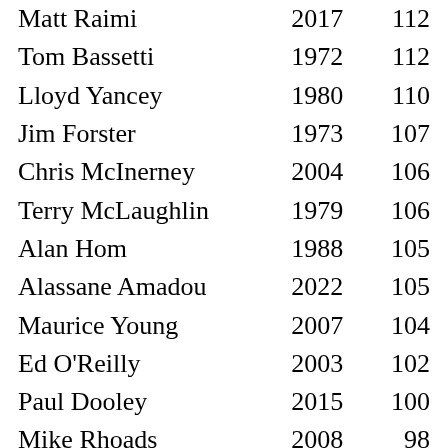| Name | Year | Score |
| --- | --- | --- |
| Matt Raimi | 2017 | 112 |
| Tom Bassetti | 1972 | 112 |
| Lloyd Yancey | 1980 | 110 |
| Jim Forster | 1973 | 107 |
| Chris McInerney | 2004 | 106 |
| Terry McLaughlin | 1979 | 106 |
| Alan Hom | 1988 | 105 |
| Alassane Amadou | 2022 | 105 |
| Maurice Young | 2007 | 104 |
| Ed O'Reilly | 2003 | 102 |
| Paul Dooley | 2015 | 100 |
| Mike Rhoads | 2008 | 98 |
| Jared Goldman | 1997 | 97 |
| Matt Ditnes | 1998 | 96 |
| Paul Sablich | 1994 | 96 |
| Ryan McMullin | 2000 | 96 |
| Scott Dziengelski | 2005 | 94 |
| Chris Davis | 1995 | 90 |
| Kevin Sulli... | 1971 | 90 |